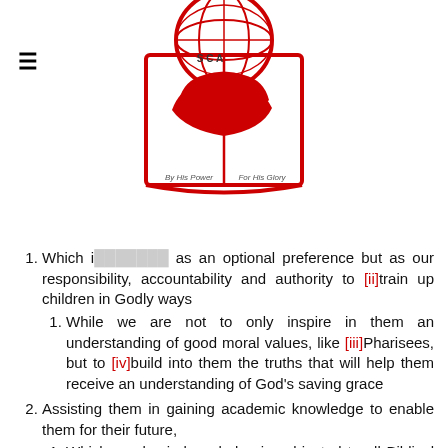[Figure (logo): SCA logo — red globe with hands holding a book, text 'By His Power For His Glory']
Which is not to be viewed as an optional preference but as our responsibility, accountability and authority to [ii]train up children in Godly ways
While we are not to only inspire in them an understanding of good moral values, like [iii]Pharisees, but to [iv]build into them the truths that will help them receive an understanding of God's saving grace
Assisting them in gaining academic knowledge to enable them for their future,
Which academic knowledge is subjected to all Biblical Truth, and